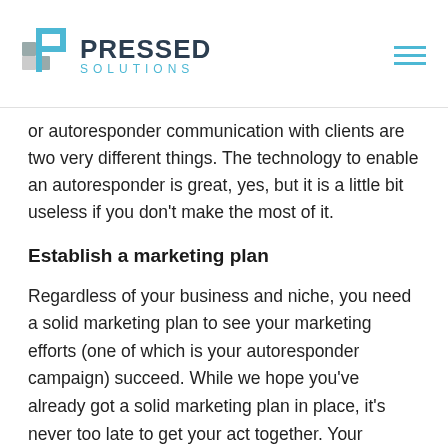PRESSED SOLUTIONS
or autoresponder communication with clients are two very different things. The technology to enable an autoresponder is great, yes, but it is a little bit useless if you don't make the most of it.
Establish a marketing plan
Regardless of your business and niche, you need a solid marketing plan to see your marketing efforts (one of which is your autoresponder campaign) succeed. While we hope you've already got a solid marketing plan in place, it's never too late to get your act together. Your marketing plan directs your autoresponder activities depending on how you want to communicate with and